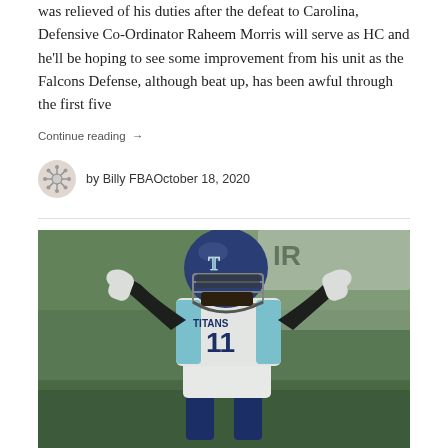was relieved of his duties after the defeat to Carolina, Defensive Co-Ordinator Raheem Morris will serve as HC and he'll be hoping to see some improvement from his unit as the Falcons Defense, although beat up, has been awful through the first five
Continue reading →
by Billy FBA   October 18, 2020
[Figure (photo): Tennessee Titans wide receiver #11 in white Titans uniform with light blue accents and navy helmet, hands raised to ears in a celebratory pose, standing on a football field with blurred green background]